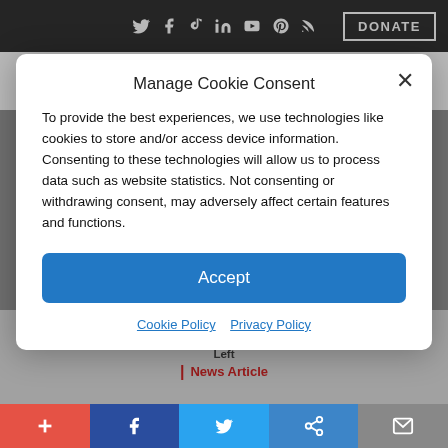Social icons and DONATE button on black bar
Liberty Nation News
Manage Cookie Consent
To provide the best experiences, we use technologies like cookies to store and/or access device information. Consenting to these technologies will allow us to process data such as website statistics. Not consenting or withdrawing consent, may adversely affect certain features and functions.
Accept
Cookie Policy  Privacy Policy
By: Onar Am | September 18, 2017 - 8:00 am | The Left
| News Article
Share bar: + Facebook Twitter Share Mail